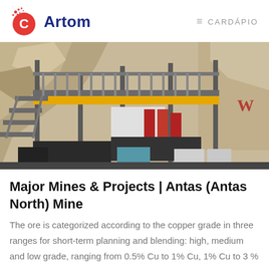Artom | CARDÁPIO
[Figure (photo): Industrial mining equipment with metal scaffolding, staircases, yellow platform, red machinery, and rocky cliff background.]
Major Mines & Projects | Antas (Antas North) Mine
The ore is categorized according to the copper grade in three ranges for short-term planning and blending: high, medium and low grade, ranging from 0.5% Cu to 1% Cu, 1% Cu to 3 %